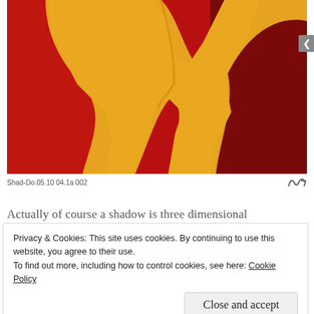[Figure (photo): Close-up photo of a textured artwork or surface showing a yellow/orange silhouette of a human figure against a red/crimson textured background. The yellow shape occupies the left and center, the dark red fills the right portion.]
Shad-Do.05.10 04.1a 002
Actually of course a shadow is three dimensional
Privacy & Cookies: This site uses cookies. By continuing to use this website, you agree to their use.
To find out more, including how to control cookies, see here: Cookie Policy
Close and accept